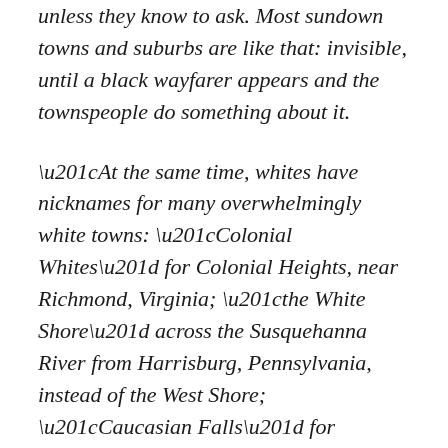unless they know to ask. Most sundown towns and suburbs are like that: invisible, until a black wayfarer appears and the townspeople do something about it.
“At the same time, whites have nicknames for many overwhelmingly white towns: “Colonial Whites” for Colonial Heights, near Richmond, Virginia; “the White Shore” across the Susquehanna River from Harrisburg, Pennsylvania, instead of the West Shore; “Caucasian Falls” for Cuyahoga Falls near Akron, Ohio; “Whiteface Bay” for Whitefish Bay, north of